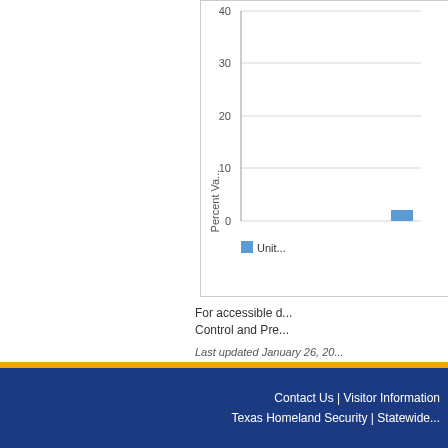[Figure (bar-chart): Percent Vaccinated]
For accessible data, please contact Centers for Disease Control and Prevention (CDC).
Last updated January 26, 20...
Contact Us | Visitor Information
Texas Homeland Security | Statewide...